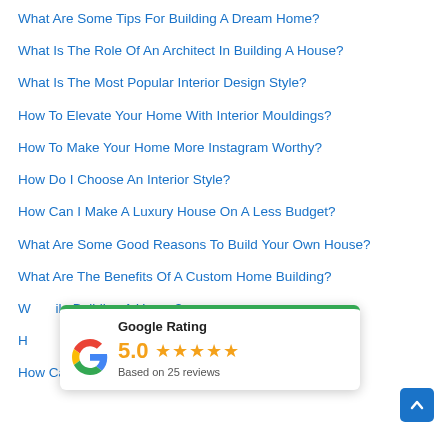What Are Some Tips For Building A Dream Home?
What Is The Role Of An Architect In Building A House?
What Is The Most Popular Interior Design Style?
How To Elevate Your Home With Interior Mouldings?
How To Make Your Home More Instagram Worthy?
How Do I Choose An Interior Style?
How Can I Make A Luxury House On A Less Budget?
What Are Some Good Reasons To Build Your Own House?
What Are The Benefits Of A Custom Home Building?
W…ile Building A House?
H… A House In Australia?
How Can I Dry Out The House During Construction?
[Figure (infographic): Google Rating widget showing 5.0 stars based on 25 reviews, with green top border and Google G logo]